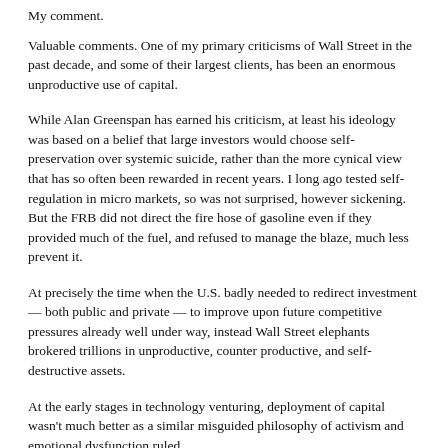My comment.
Valuable comments. One of my primary criticisms of Wall Street in the past decade, and some of their largest clients, has been an enormous unproductive use of capital.
While Alan Greenspan has earned his criticism, at least his ideology was based on a belief that large investors would choose self-preservation over systemic suicide, rather than the more cynical view that has so often been rewarded in recent years. I long ago tested self-regulation in micro markets, so was not surprised, however sickening. But the FRB did not direct the fire hose of gasoline even if they provided much of the fuel, and refused to manage the blaze, much less prevent it.
At precisely the time when the U.S. badly needed to redirect investment — both public and private — to improve upon future competitive pressures already well under way, instead Wall Street elephants brokered trillions in unproductive, counter productive, and self-destructive assets.
At the early stages in technology venturing, deployment of capital wasn't much better as a similar misguided philosophy of activism and emotional dysfunction ruled.
I personally find the excess in outsourcing to be sourced in a similar